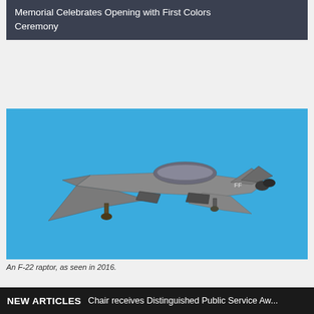Memorial Celebrates Opening with First Colors Ceremony
[Figure (photo): An F-22 Raptor fighter jet photographed in flight against a clear blue sky, as seen in 2016. The aircraft is shown from a side-angle view with landing gear partially visible.]
An F-22 raptor, as seen in 2016.
NEW ARTICLES  Chair receives Distinguished Public Service Aw...